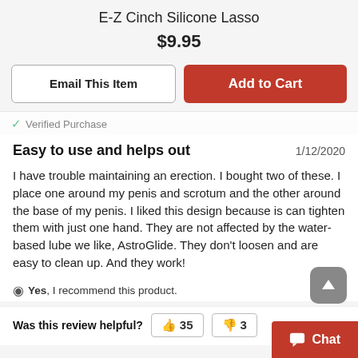E-Z Cinch Silicone Lasso
$9.95
Email This Item
Add to Cart
Verified Purchase
Easy to use and helps out
1/12/2020
I have trouble maintaining an erection. I bought two of these. I place one around my penis and scrotum and the other around the base of my penis. I liked this design because is can tighten them with just one hand. They are not affected by the water-based lube we like, AstroGlide. They don't loosen and are easy to clean up. And they work!
Yes, I recommend this product.
Was this review helpful?  35  3